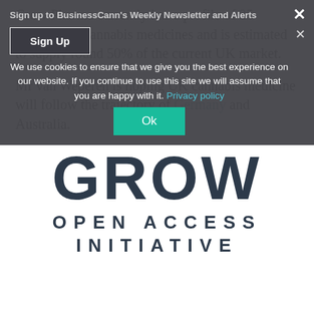Grow Pharma currently has a profile of 25 'unlicensed' cannabis medicines and is estimated to supply round 50% of the current UK market.
Mr van Weperen is hoping UK cannabis medicine will follow the trajectory of Germany and Australia.
[Figure (logo): GROW OPEN ACCESS INITIATIVE logo in dark navy text on white background]